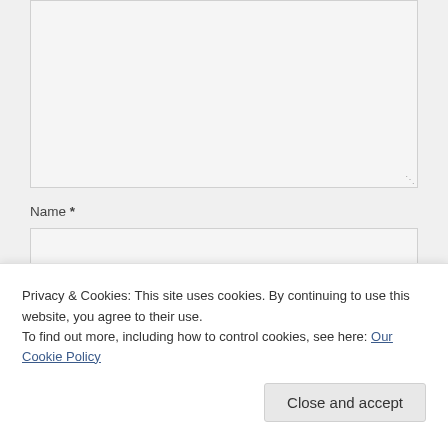Name *
Email *
Privacy & Cookies: This site uses cookies. By continuing to use this website, you agree to their use.
To find out more, including how to control cookies, see here: Our Cookie Policy
Close and accept
Notify me of new comments via email.